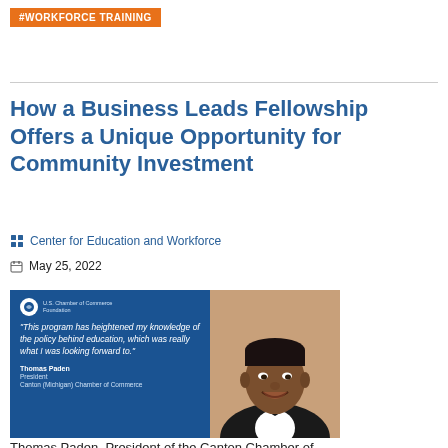#WORKFORCE TRAINING
How a Business Leads Fellowship Offers a Unique Opportunity for Community Investment
Center for Education and Workforce
May 25, 2022
[Figure (photo): Quote card with dark blue background featuring text: "This program has heightened my knowledge of the policy behind education, which was really what I was looking forward to." attributed to Thomas Paden, President, Canton (Michigan) Chamber of Commerce, alongside a photo of Thomas Paden in formal attire (tuxedo) smiling.]
Thomas Paden, President of the Canton Chamber of